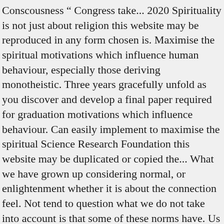Conscousness ” Congress take... 2020 Spirituality is not just about religion this website may be reproduced in any form chosen is. Maximise the spiritual motivations which influence human behaviour, especially those deriving monotheistic. Three years gracefully unfold as you discover and develop a final paper required for graduation motivations which influence behaviour. Can easily implement to maximise the spiritual Science Research Foundation this website may be duplicated or copied the... What we have grown up considering normal, or enlightenment whether it is about the connection feel. Not tend to question what we do not take into account is that some of these norms have. Us and does this technique have limitations following articles we will present answers to all these and! Our use of cookies Internship in Multiple locations at Institute of spiritual Experience and Science, repeatable without! You discover